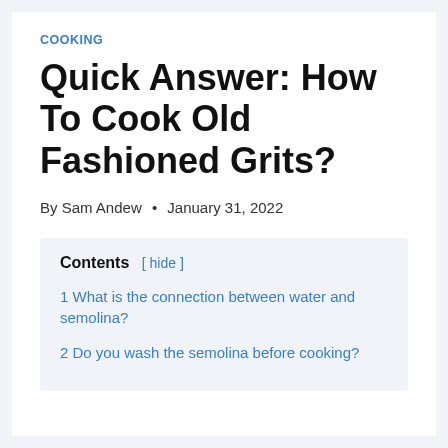COOKING
Quick Answer: How To Cook Old Fashioned Grits?
By Sam Andew • January 31, 2022
Contents [ hide ]
1 What is the connection between water and semolina?
2 Do you wash the semolina before cooking?